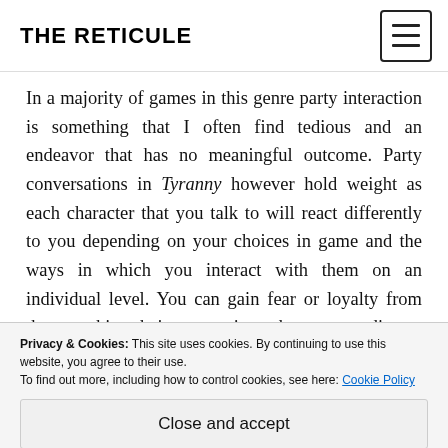THE RETICULE
In a majority of games in this genre party interaction is something that I often find tedious and an endeavor that has no meaningful outcome. Party conversations in Tyranny however hold weight as each character that you talk to will react differently to you depending on your choices in game and the ways in which you interact with them on an individual level. You can gain fear or loyalty from them, making their own actions change according to yours. This is the same for larger factions and NPC’s in the game, who you can also gain
Privacy & Cookies: This site uses cookies. By continuing to use this website, you agree to their use.
To find out more, including how to control cookies, see here: Cookie Policy
Close and accept
consequences. The only disappointment from the